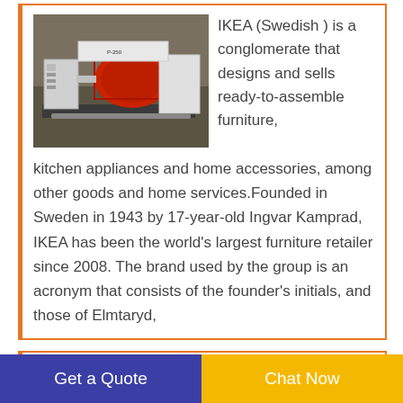[Figure (photo): Industrial machinery with red and white components in a warehouse setting]
IKEA (Swedish ) is a conglomerate that designs and sells ready-to-assemble furniture, kitchen appliances and home accessories, among other goods and home services.Founded in Sweden in 1943 by 17-year-old Ingvar Kamprad, IKEA has been the world's largest furniture retailer since 2008. The brand used by the group is an acronym that consists of the founder's initials, and those of Elmtaryd,
[Figure (photo): Placeholder image for Wireless Mobile product]
Wireless Mobile